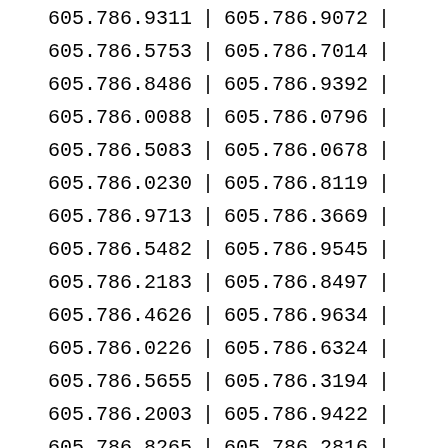| Col1 | Sep | Col2 | Sep2 |
| --- | --- | --- | --- |
| 605.786.9311 | | | 605.786.9072 | | |
| 605.786.5753 | | | 605.786.7014 | | |
| 605.786.8486 | | | 605.786.9392 | | |
| 605.786.0088 | | | 605.786.0796 | | |
| 605.786.5083 | | | 605.786.0678 | | |
| 605.786.0230 | | | 605.786.8119 | | |
| 605.786.9713 | | | 605.786.3669 | | |
| 605.786.5482 | | | 605.786.9545 | | |
| 605.786.2183 | | | 605.786.8497 | | |
| 605.786.4626 | | | 605.786.9634 | | |
| 605.786.0226 | | | 605.786.6324 | | |
| 605.786.5655 | | | 605.786.3194 | | |
| 605.786.2003 | | | 605.786.9422 | | |
| 605.786.8265 | | | 605.786.2816 | | |
| 605.786.3720 | | | 605.786.2290 | | |
| 605.786.4346 | | | 605.786.3216 | | |
| 605.786.9513 | | | 605.786.0435 | | |
| 605.786.4340 | | | 605.786.6173 | | |